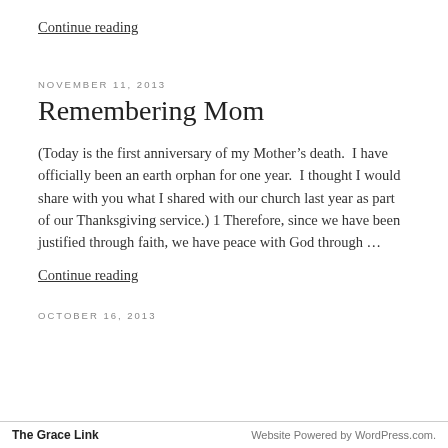Continue reading
NOVEMBER 11, 2013
Remembering Mom
(Today is the first anniversary of my Mother’s death.  I have officially been an earth orphan for one year.  I thought I would share with you what I shared with our church last year as part of our Thanksgiving service.) 1 Therefore, since we have been justified through faith, we have peace with God through …
Continue reading
OCTOBER 16, 2013
The Grace Link   Website Powered by WordPress.com.